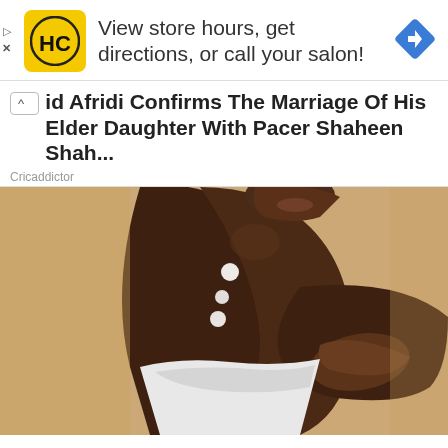[Figure (infographic): Hair Club (HC) salon advertisement banner with yellow logo showing 'HC' text, bold text reading 'View store hours, get directions, or call your salon!', and a blue navigation diamond icon on the right. Small play and X controls on the left side.]
id Afridi Confirms The Marriage Of His Elder Daughter With Pacer Shaheen Shah...
Cricaddictor
[Figure (photo): A woman with dark skin applying cream dots on her upper arm/shoulder area, wearing a white towel wrap, photographed against a tan/beige background.]